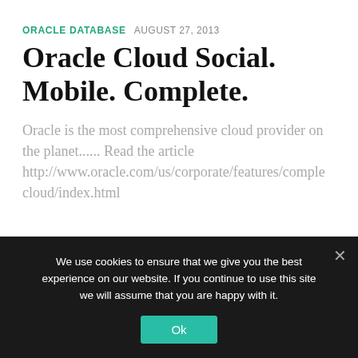ORACLE DATABASE   AUGUST 27, 2013
Oracle Cloud Social. Mobile. Complete.
Oracle is the most comprehensive cloud provider on the planet...... Read the article http://www.oracle.com/us/corporate/features/complete-cloud/index.html
ORACLE DATABASE   JULY 4, 2013
We use cookies to ensure that we give you the best experience on our website. If you continue to use this site we will assume that you are happy with it.